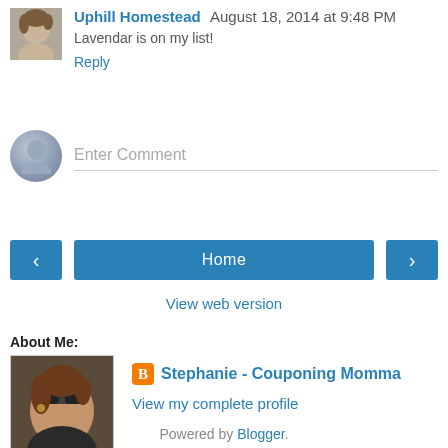Uphill Homestead  August 18, 2014 at 9:48 PM
Lavendar is on my list!
Reply
Enter Comment
Home
View web version
About Me:
Stephanie - Couponing Momma
View my complete profile
Powered by Blogger.